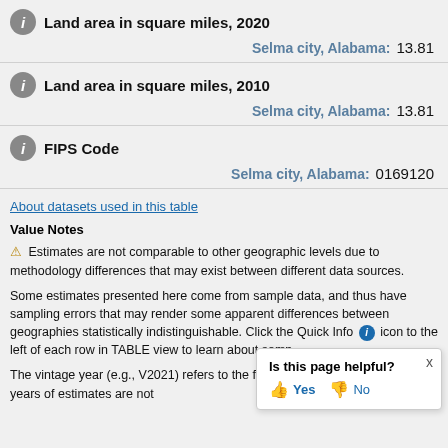Land area in square miles, 2020
Selma city, Alabama: 13.81
Land area in square miles, 2010
Selma city, Alabama: 13.81
FIPS Code
Selma city, Alabama: 0169120
About datasets used in this table
Value Notes
Estimates are not comparable to other geographic levels due to methodology differences that may exist between different data sources.
Some estimates presented here come from sample data, and thus have sampling errors that may render some apparent differences between geographies statistically indistinguishable. Click the Quick Info icon to the left of each row in TABLE view to learn about samp
The vintage year (e.g., V2021) refers to the final ye 2021). Different vintage years of estimates are not
Is this page helpful? Yes No